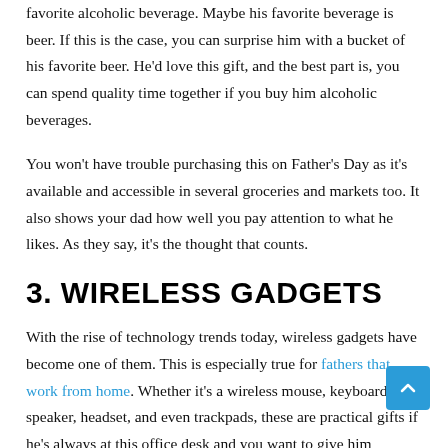favorite alcoholic beverage. Maybe his favorite beverage is beer. If this is the case, you can surprise him with a bucket of his favorite beer. He'd love this gift, and the best part is, you can spend quality time together if you buy him alcoholic beverages.
You won't have trouble purchasing this on Father's Day as it's available and accessible in several groceries and markets too. It also shows your dad how well you pay attention to what he likes. As they say, it's the thought that counts.
3. WIRELESS GADGETS
With the rise of technology trends today, wireless gadgets have become one of them. This is especially true for fathers that work from home. Whether it's a wireless mouse, keyboard, speaker, headset, and even trackpads, these are practical gifts if he's always at this office desk and you want to give him something that